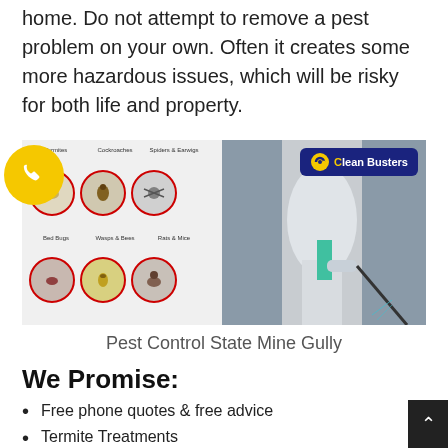home. Do not attempt to remove a pest problem on your own. Often it creates some more hazardous issues, which will be risky for both life and property.
[Figure (photo): Split image: left half shows a pest control service grid with circular icons for Termites, Cockroaches, Spiders & Earwigs, Bed Bugs, Wasps & Bees, Rats & Mice with red circle borders, and a yellow phone bubble with a phone icon in bottom-left corner; right half shows a pest control worker in white protective suit spraying with a pump sprayer, with a 'Clean Busters' logo badge in the top-right corner on a dark blue background.]
Pest Control State Mine Gully
We Promise:
Free phone quotes & free advice
Termite Treatments
Termite/ White ant Inspections
Residential & Commercial pest control